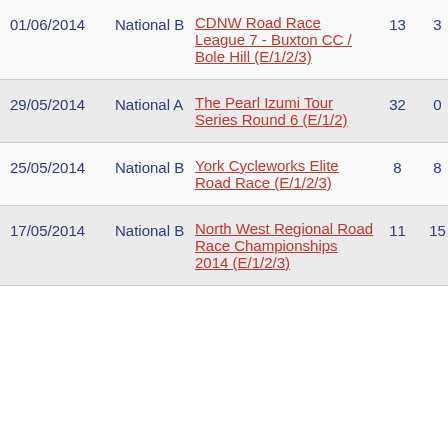| Date | Category | Event | Col1 | Col2 |
| --- | --- | --- | --- | --- |
| 01/06/2014 | National B | CDNW Road Race League 7 - Buxton CC / Bole Hill (E/1/2/3) | 13 | 3 |
| 29/05/2014 | National A | The Pearl Izumi Tour Series Round 6 (E/1/2) | 32 | 0 |
| 25/05/2014 | National B | York Cycleworks Elite Road Race (E/1/2/3) | 8 | 8 |
| 17/05/2014 | National B | North West Regional Road Race Championships 2014 (E/1/2/3) | 11 | 15 |